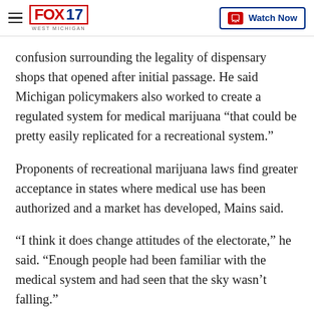FOX 17 WEST MICHIGAN | Watch Now
confusion surrounding the legality of dispensary shops that opened after initial passage. He said Michigan policymakers also worked to create a regulated system for medical marijuana “that could be pretty easily replicated for a recreational system.”
Proponents of recreational marijuana laws find greater acceptance in states where medical use has been authorized and a market has developed, Mains said.
“I think it does change attitudes of the electorate,” he said. “Enough people had been familiar with the medical system and had seen that the sky wasn’t falling.”